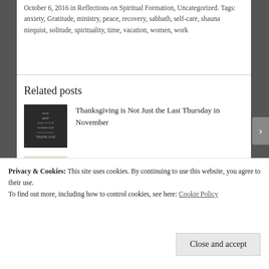October 6, 2016 in Reflections on Spiritual Formation, Uncategorized. Tags: anxiety, Gratitude, ministry, peace, recovery, sabbath, self-care, shauna niequist, solitude, spirituality, time, vacation, women, work
Related posts
Thanksgiving is Not Just the Last Thursday in November
Resolutions and Reservations
Privacy & Cookies: This site uses cookies. By continuing to use this website, you agree to their use.
To find out more, including how to control cookies, see here: Cookie Policy
Close and accept